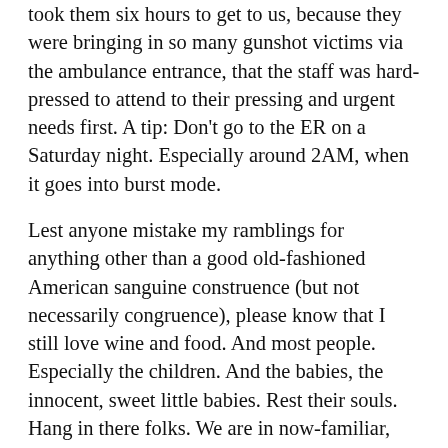took them six hours to get to us, because they were bringing in so many gunshot victims via the ambulance entrance, that the staff was hard-pressed to attend to their pressing and urgent needs first. A tip: Don't go to the ER on a Saturday night. Especially around 2AM, when it goes into burst mode.
Lest anyone mistake my ramblings for anything other than a good old-fashioned American sanguine construence (but not necessarily congruence), please know that I still love wine and food. And most people. Especially the children. And the babies, the innocent, sweet little babies. Rest their souls. Hang in there folks. We are in now-familiar, but still un-charted waters. Be careful out there.
[Figure (photo): Black and white photograph with a red border showing a large dome-shaped structure with a bright glowing light above it, surrounded by silhouetted figures of people in the foreground.]